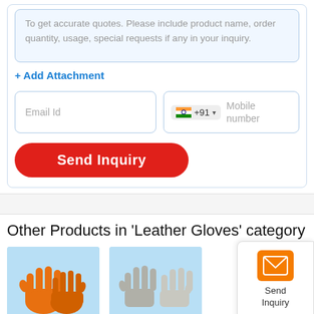To get accurate quotes. Please include product name, order quantity, usage, special requests if any in your inquiry.
+ Add Attachment
Email Id
+91  Mobile number
Send Inquiry
Other Products in 'Leather Gloves' category
[Figure (photo): Orange leather welding gloves on light blue background]
[Figure (photo): Grey/white leather gloves on light blue background]
[Figure (infographic): Send Inquiry floating button with mail icon]